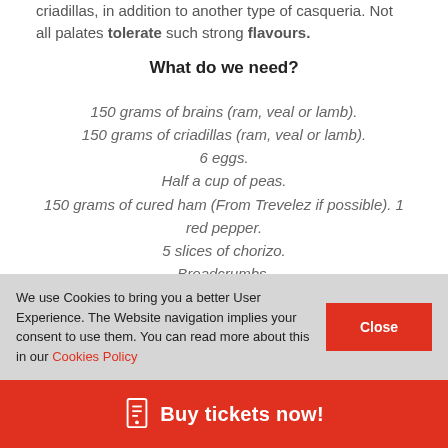criadillas, in addition to another type of casqueria. Not all palates tolerate such strong flavours.
What do we need?
150 grams of brains (ram, veal or lamb).
150 grams of criadillas (ram, veal or lamb).
6 eggs.
Half a cup of peas.
150 grams of cured ham (From Trevelez if possible). 1 red pepper.
5 slices of chorizo.
Breadcrumbs.
We use Cookies to bring you a better User Experience. The Website navigation implies your consent to use them. You can read more about this in our Cookies Policy
Buy tickets now!